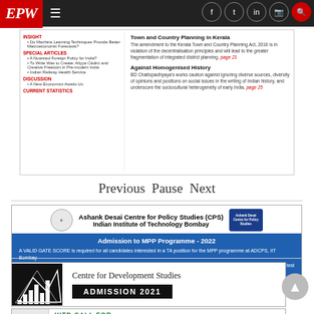EPW
[Figure (screenshot): EPW magazine cover snippet showing table of contents with sections: INSIGHT, SPECIAL ARTICLES, DISCUSSION, CURRENT STATISTICS]
Town and Country Planning in Kerala
The amendment to the Kerala Town and Country Planning Act, 2016 is in violation of the decentralisation principles and will lead to the greater fragmentation of integrated district planning. page 21
Against Homogenised History
BD Chattopadhyaya's works caution against ignoring diverse sources, diversity of opinions and positions on social issues in the writing of Indian history, and underscore the sociocultural heterogeneity of early India. page 25
Previous Pause Next
[Figure (infographic): Advertisement for Ashank Desai Centre for Policy Studies (CPS), Indian Institute of Technology Bombay. Admission to MPP Programme - 2022. A VALID GATE SCORE is required for all candidates interested in a TA position for the MPP programme at ADCPS, IIT Bombay. Part-I: Written Test - All candidates will need to appear for a CPS written test. Part-II: Personal Interview - LIKELY DATE: JUNE 2022.]
[Figure (infographic): Advertisement for Centre for Development Studies - ADMISSION 2021]
[Figure (infographic): Advertisement partial: IIITD CALL FOR]